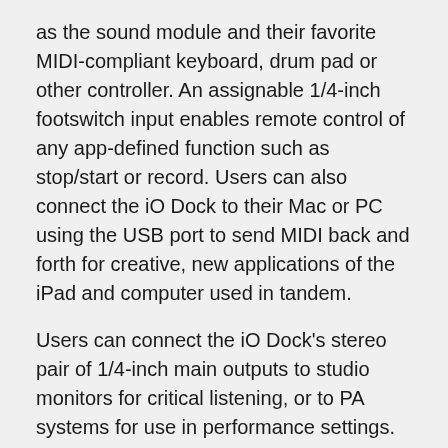as the sound module and their favorite MIDI-compliant keyboard, drum pad or other controller. An assignable 1/4-inch footswitch input enables remote control of any app-defined function such as stop/start or record. Users can also connect the iO Dock to their Mac or PC using the USB port to send MIDI back and forth for creative, new applications of the iPad and computer used in tandem.
Users can connect the iO Dock's stereo pair of 1/4-inch main outputs to studio monitors for critical listening, or to PA systems for use in performance settings. They can monitor on headphones, and independently control the levels of the two outputs, each on its own knob. Recording musicians will appreciate the iO Dock's direct-monitor switch, which enables them to toggle between the incoming and playback signal on their headphones. Rounding out the iO Dock's output section is a composite